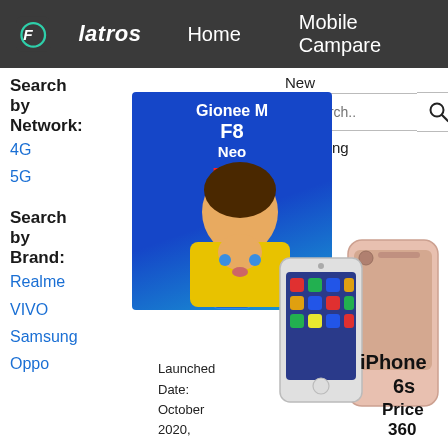Flatros  Home  Mobile Campare
Search by Network: 4G 5G
Search by Brand:
Realme
VIVO
Samsung
Oppo
New
Coming Soon
[Figure (screenshot): Search bar with text 'Search..' and a search button icon]
[Figure (photo): Gionee M F8 Neo phone with blue gradient background and girl blowing kiss overlay image]
[Figure (photo): iPhone 6s rose gold product image showing front and back]
iPhone 6s
Price
360
Launched Date: October 2020,